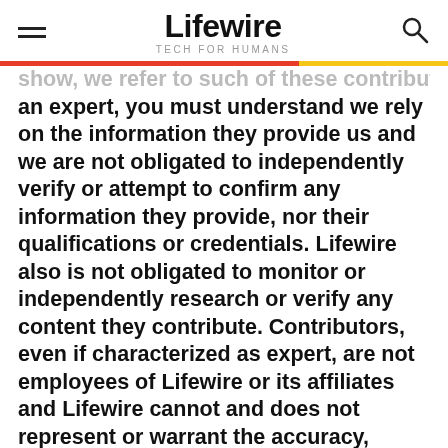Lifewire TECH FOR HUMANS
an expert, you must understand we rely on the information they provide us and we are not obligated to independently verify or attempt to confirm any information they provide, nor their qualifications or credentials. Lifewire also is not obligated to monitor or independently research or verify any content they contribute. Contributors, even if characterized as expert, are not employees of Lifewire or its affiliates and Lifewire cannot and does not represent or warrant the accuracy, completeness or truthfulness of the qualifications or credentials of any contributor, nor of any other source of the